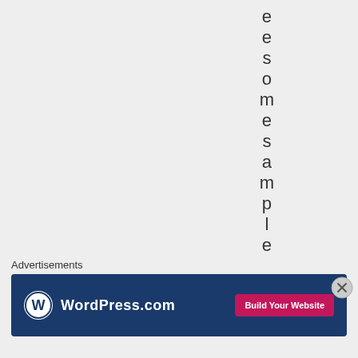e e s o m e s a m p l e c
Advertisements
[Figure (screenshot): WordPress.com advertisement banner with blue background, WordPress logo on left, and pink 'Build Your Website' button on right]